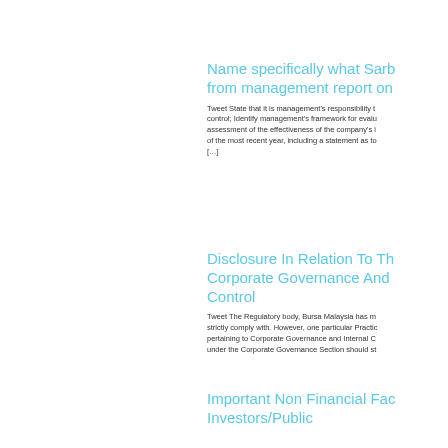Name specifically what Sarb... from management report on...
Tweet State that it is management's responsibility to... control; Identify management's framework for evalu... assessment of the effectiveness of the company's i... of the most recent year, including a statement as to... [...]
Disclosure In Relation To Th... Corporate Governance And... Control
Tweet The Regulatory body, Bursa Malaysia has m... strictly comply with. However, one particular Practic... pertaining to Corporate Governance and Internal C... under the Corporate Governance Section should st...
Important Non Financial Fac... Investors/Public